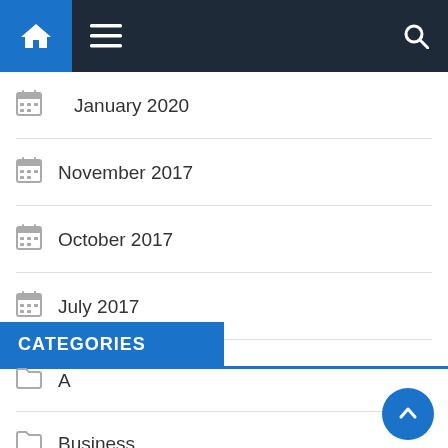Navigation bar with home, menu, and search icons
January 2020
November 2017
October 2017
July 2017
CATEGORIES
A
Business
C
Design